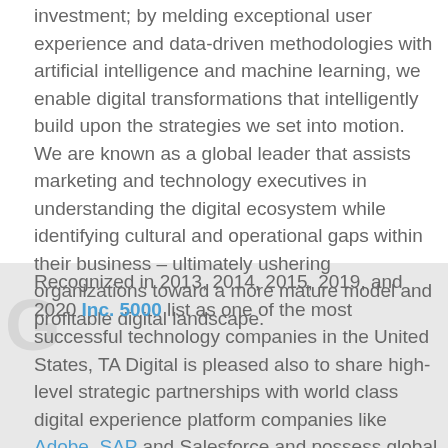investment; by melding exceptional user experience and data-driven methodologies with artificial intelligence and machine learning, we enable digital transformations that intelligently build upon the strategies we set into motion. We are known as a global leader that assists marketing and technology executives in understanding the digital ecosystem while identifying cultural and operational gaps within their business – ultimately ushering organizations toward a more mature model and profitable digital landscape.
Recognized in 2013, 2014, 2015, 2019, and 2020 Inc. 5000 list as one of the most successful technology companies in the United States, TA Digital is pleased also to share high-level strategic partnerships with world class digital experience platform companies like Adobe, SAP and Salesforce and possess global partnerships with industry leaders such as Sitecore, Episerver, Elastic Path, BigCommerce, AWS, Azure and Cause.